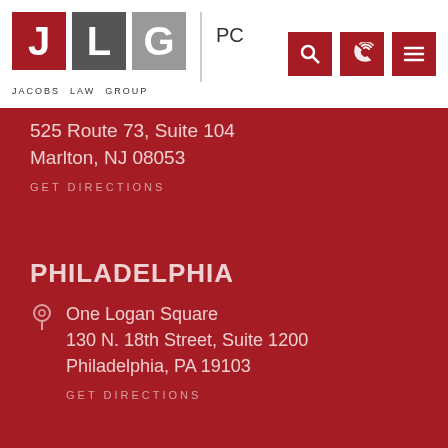[Figure (logo): Jacobs Law Group PC logo with J in red box, L in dark gray box, G in light gray box, vertical divider, then PC text, and JACOBS LAW GROUP text below]
[Figure (infographic): Three dark red navigation icon buttons: search magnifier, phone/contact, and hamburger menu]
525 Route 73, Suite 104
Marlton, NJ 08053
GET DIRECTIONS
PHILADELPHIA
One Logan Square
130 N. 18th Street, Suite 1200
Philadelphia, PA 19103
GET DIRECTIONS